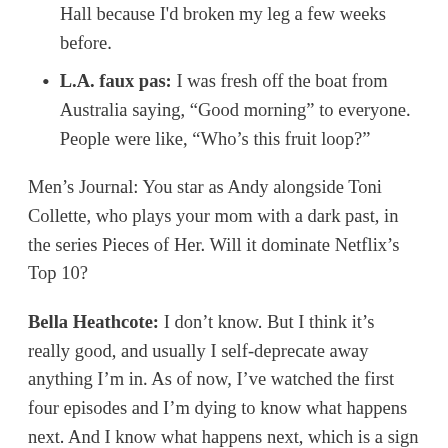Hall because I'd broken my leg a few weeks before.
L.A. faux pas: I was fresh off the boat from Australia saying, “Good morning” to everyone. People were like, “Who’s this fruit loop?”
Men’s Journal: You star as Andy alongside Toni Collette, who plays your mom with a dark past, in the series Pieces of Her. Will it dominate Netflix’s Top 10?
Bella Heathcote: I don’t know. But I think it’s really good, and usually I self-deprecate away anything I’m in. As of now, I’ve watched the first four episodes and I’m dying to know what happens next. And I know what happens next, which is a sign of a good thriller.